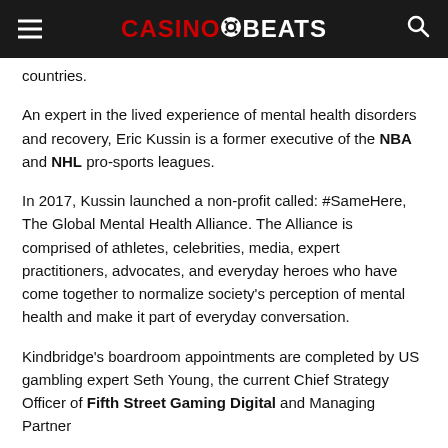CasinoBeats
countries.
An expert in the lived experience of mental health disorders and recovery, Eric Kussin is a former executive of the NBA and NHL pro-sports leagues.
In 2017, Kussin launched a non-profit called: #SameHere, The Global Mental Health Alliance. The Alliance is comprised of athletes, celebrities, media, expert practitioners, advocates, and everyday heroes who have come together to normalize society's perception of mental health and make it part of everyday conversation.
Kindbridge's boardroom appointments are completed by US gambling expert Seth Young, the current Chief Strategy Officer of Fifth Street Gaming Digital and Managing Partner